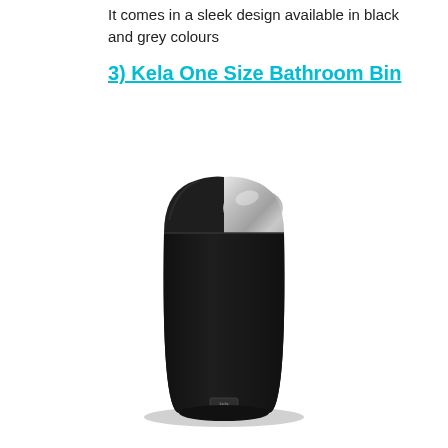It comes in a sleek design available in black and grey colours
3) Kela One Size Bathroom Bin
[Figure (photo): A black cylindrical bathroom bin with a silver/chrome swing lid, featuring the Kela brand logo at the bottom front of the bin.]